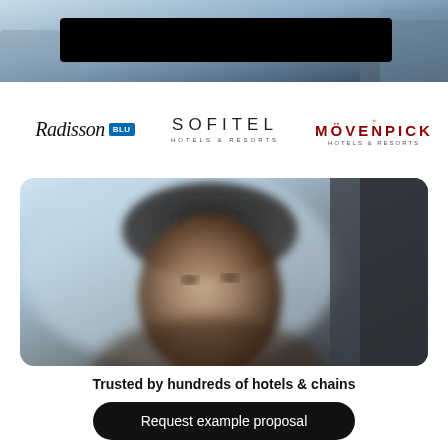[Figure (photo): Hotel room background photo with a black redaction bar overlaid]
[Figure (logo): Radisson Blu logo]
[Figure (logo): Sofitel Hotels & Resorts logo]
[Figure (logo): Mövenpick Hotels & Resorts logo]
[Figure (photo): Blurred/defocused close-up portrait of a person]
Trusted by hundreds of hotels & chains
Request example proposal